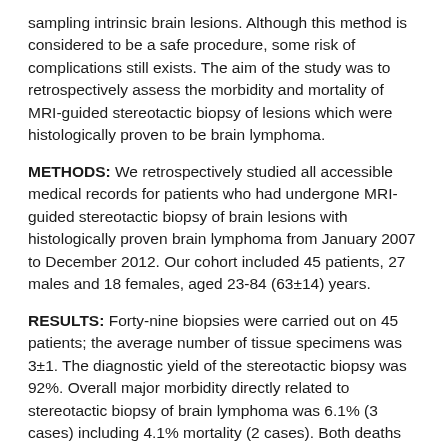sampling intrinsic brain lesions. Although this method is considered to be a safe procedure, some risk of complications still exists. The aim of the study was to retrospectively assess the morbidity and mortality of MRI-guided stereotactic biopsy of lesions which were histologically proven to be brain lymphoma.
METHODS: We retrospectively studied all accessible medical records for patients who had undergone MRI-guided stereotactic biopsy of brain lesions with histologically proven brain lymphoma from January 2007 to December 2012. Our cohort included 45 patients, 27 males and 18 females, aged 23-84 (63±14) years.
RESULTS: Forty-nine biopsies were carried out on 45 patients; the average number of tissue specimens was 3±1. The diagnostic yield of the stereotactic biopsy was 92%. Overall major morbidity directly related to stereotactic biopsy of brain lymphoma was 6.1% (3 cases) including 4.1% mortality (2 cases). Both deaths after the stereotactic procedure were due